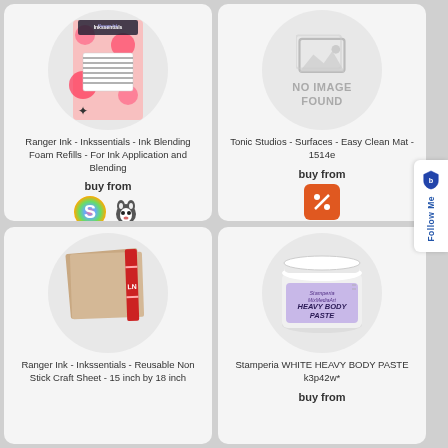[Figure (photo): Ranger Ink Inkssentials Ink Blending Foam Refills product card showing product in circle and buy from icons]
Ranger Ink - Inkssentials - Ink Blending Foam Refills - For Ink Application and Blending
buy from
[Figure (photo): Tonic Studios Surfaces Easy Clean Mat 1514e - No Image Found placeholder]
Tonic Studios - Surfaces - Easy Clean Mat - 1514e
buy from
[Figure (photo): Ranger Ink Inkssentials Reusable Non Stick Craft Sheet 15 inch by 18 inch product card]
Ranger Ink - Inkssentials - Reusable Non Stick Craft Sheet - 15 inch by 18 inch
[Figure (photo): Stamperia WHITE HEAVY BODY PASTE k3p42w product jar]
Stamperia WHITE HEAVY BODY PASTE k3p42w*
buy from